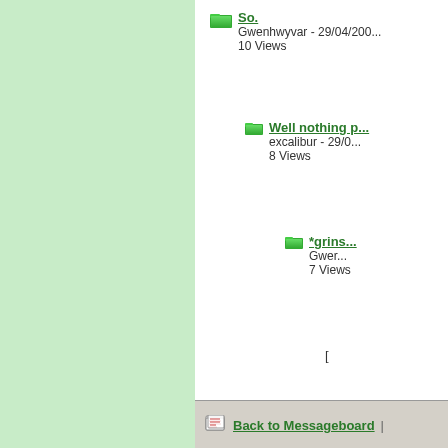So. - Gwenhwyvar - 29/04/200... - 10 Views
Well nothing p... - excalibur - 29/0... - 8 Views
*grins... - Gwer... - 7 Views
Back to Messageboard